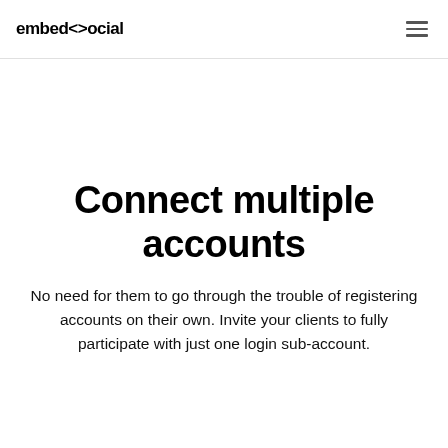embedsocial
Connect multiple accounts
No need for them to go through the trouble of registering accounts on their own. Invite your clients to fully participate with just one login sub-account.